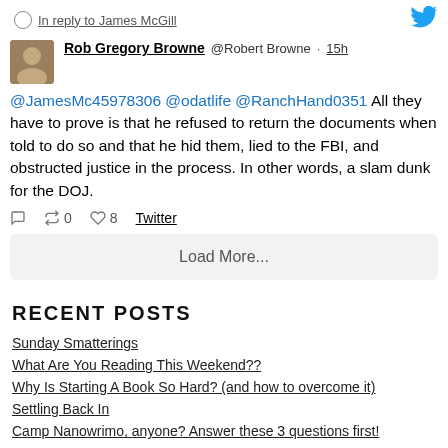In reply to James McGill
Rob Gregory Browne @Robert Browne · 15h
@JamesMc45978306 @odatlife @RanchHand0351 All they have to prove is that he refused to return the documents when told to do so and that he hid them, lied to the FBI, and obstructed justice in the process. In other words, a slam dunk for the DOJ.
0 retweets 0 likes 8 Twitter
Load More...
RECENT POSTS
Sunday Smatterings
What Are You Reading This Weekend??
Why Is Starting A Book So Hard? (and how to overcome it)
Settling Back In
Camp Nanowrimo, anyone? Answer these 3 questions first!